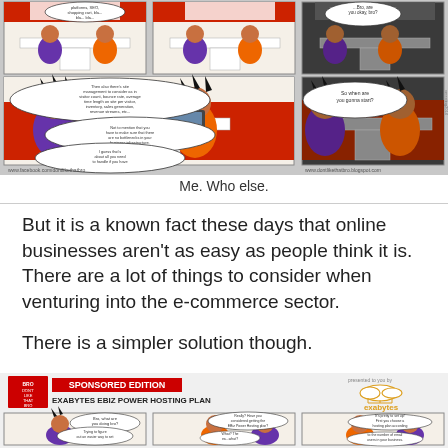[Figure (illustration): A multi-panel webcomic strip showing two characters sitting on a red couch with laptops. Speech bubbles discuss e-commerce topics including platforms, SEO, shopping cart, site management, bounce rate, visitor count, inventory, sales generation, revenue streams, bottlenecks in business infrastructure. One character asks 'So when are you gonna start?' and the other says '...Bro, are you okay, bro?' Watermarks: www.facebook.com/dontlikethatbro and www.dontlikethatbro.blogspot.com]
Me. Who else.
But it is a known fact these days that online businesses aren't as easy as people think it is. There are a lot of things to consider when venturing into the e-commerce sector.
There is a simpler solution though.
[Figure (illustration): Bottom portion of a sponsored edition comic strip titled 'SPONSORED EDITION - EXABYTES EBIZ POWER HOSTING PLAN' with the Don't Like That Bro logo on the left and Exabytes logo on the right. Three comic panels visible at the bottom with speech bubbles: 'Bro, what are you doing bro?', 'Trying to figure out an easier way to set up my online business.', 'Really? Have you considered getting the EBiz Power Hosting plan? What? The...', 'It's pretty to set up! First you choose a hosting plan according to the number of email users in your business.']